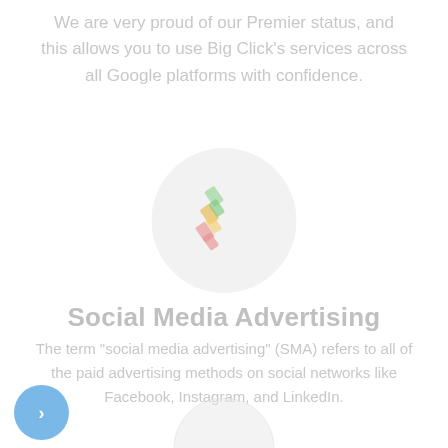We are very proud of our Premier status, and this allows you to use Big Click's services across all Google platforms with confidence.
[Figure (logo): Circular icon with colorful stacked bar chart / pencil graphic inside a light gray circle]
Social Media Advertising
The term "social media advertising" (SMA) refers to all of the paid advertising methods on social networks like Facebook, Instagram, and LinkedIn.
[Figure (illustration): Small circular navigation button (blue circle with white right-pointing arrow) at bottom left, and partial top of another circle icon at bottom center]